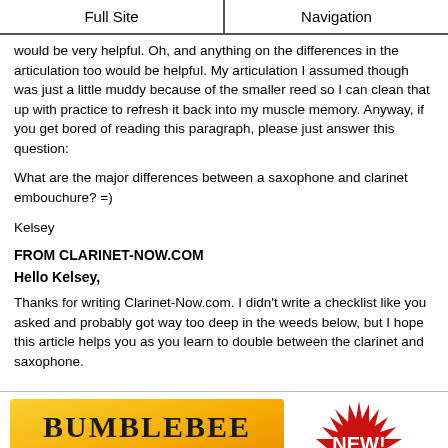Full Site | Navigation
would be very helpful. Oh, and anything on the differences in the articulation too would be helpful. My articulation I assumed though was just a little muddy because of the smaller reed so I can clean that up with practice to refresh it back into my muscle memory. Anyway, if you get bored of reading this paragraph, please just answer this question:
What are the major differences between a saxophone and clarinet embouchure? =)
Kelsey
FROM CLARINET-NOW.COM
Hello Kelsey,
Thanks for writing Clarinet-Now.com. I didn't write a checklist like you asked and probably got way too deep in the weeds below, but I hope this article helps you as you learn to double between the clarinet and saxophone.
[Figure (illustration): Bumblebee Loops logo on yellow gradient background, with a NEW! starburst badge in red to the right]